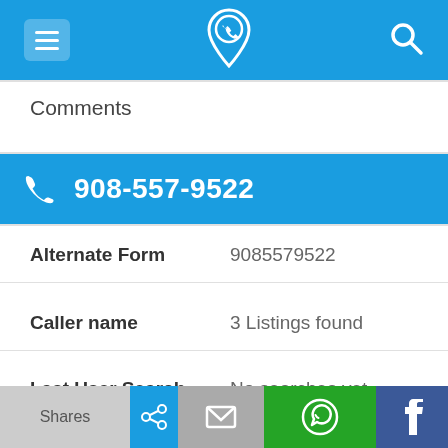908-557-9522 phone lookup app header
Comments
908-557-9522
| Field | Value |
| --- | --- |
| Alternate Form | 9085579522 |
| Caller name | 3 Listings found |
| Last User Search | No searches yet |
Comments
Shares